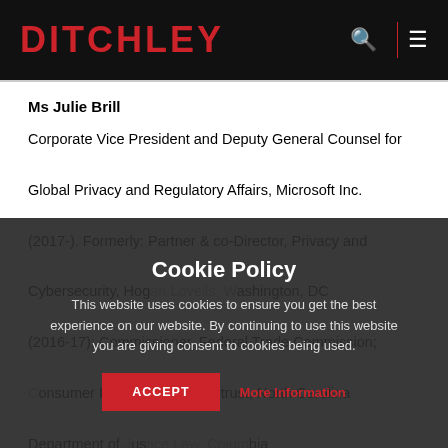DITCHLEY
Ms Julie Brill
Corporate Vice President and Deputy General Counsel for Global Privacy and Regulatory Affairs, Microsoft Inc. (2017-). Formerly: Partner & co-Director, Privacy and Cybersecurity, Hogan Lovells, Washington, DC (2016-17); Commissioner, Federal Trade Commission; Consumer Protection and Antitrust, North Carolina; Department of Justice Law, Columbia University School of Law; Assistant Attorney General for
Cookie Policy
This website uses cookies to ensure you get the best experience on our website. By continuing to use this website you are giving consent to cookies being used.
ACCEPT   More Information